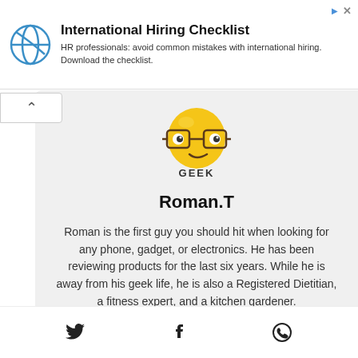[Figure (infographic): Advertisement banner for International Hiring Checklist with a circular logo icon on the left]
International Hiring Checklist
HR professionals: avoid common mistakes with international hiring. Download the checklist.
[Figure (illustration): Yellow geek emoji face with glasses and text GEEK below it]
Roman.T
Roman is the first guy you should hit when looking for any phone, gadget, or electronics. He has been reviewing products for the last six years. While he is away from his geek life, he is also a Registered Dietitian, a fitness expert, and a kitchen gardener.
[Figure (infographic): Social media icons: Twitter bird, Facebook f, WhatsApp logo]